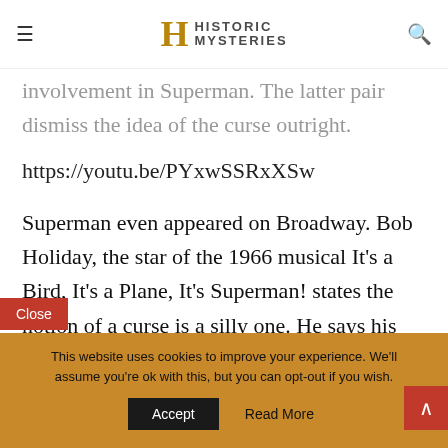Historic Mysteries
involvement in Superman. The latter pair dismiss the idea of the curse outright.
https://youtu.be/PYxwSSRxXSw
Superman even appeared on Broadway. Bob Holiday, the star of the 1966 musical It's a Bird, It's a Plane, It's Superman! states the notion of a curse is a silly one. He says his experiences have been highly beneficial and 'nothing but good'. After his
This website uses cookies to improve your experience. We'll assume you're ok with this, but you can opt-out if you wish.